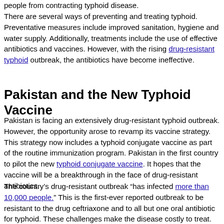people from contracting typhoid disease.
There are several ways of preventing and treating typhoid. Preventative measures include improved sanitation, hygiene and water supply. Additionally, treatments include the use of effective antibiotics and vaccines. However, with the rising drug-resistant typhoid outbreak, the antibiotics have become ineffective.
Pakistan and the New Typhoid Vaccine
Pakistan is facing an extensively drug-resistant typhoid outbreak. However, the opportunity arose to revamp its vaccine strategy. This strategy now includes a typhoid conjugate vaccine as part of the routine immunization program. Pakistan in the first country to pilot the new typhoid conjugate vaccine. It hopes that the vaccine will be a breakthrough in the face of drug-resistant antibiotics.
The country's drug-resistant outbreak “has infected more than 10,000 people.” This is the first-ever reported outbreak to be resistant to the drug ceftriaxone and to all but one oral antibiotic for typhoid. These challenges make the disease costly to treat.